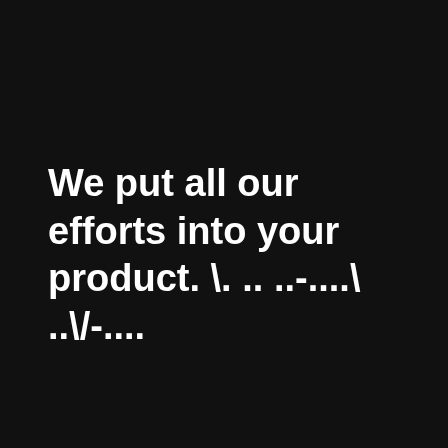We put all our efforts into your product. \. .. ..-....\ ..\/-….